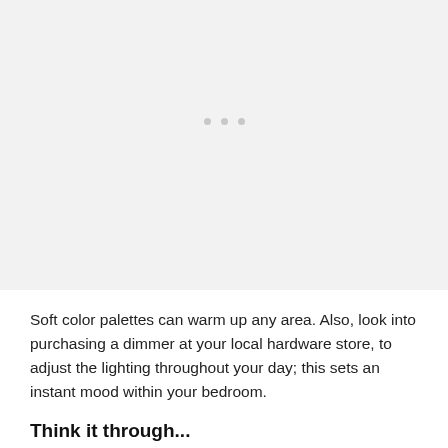[Figure (photo): A light gray placeholder image area occupying the top portion of the page, with three small gray dots centered near the middle of the image area]
Soft color palettes can warm up any area. Also, look into purchasing a dimmer at your local hardware store, to adjust the lighting throughout your day; this sets an instant mood within your bedroom.
Think it through...